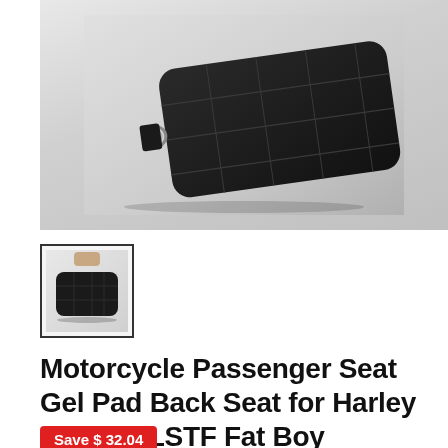[Figure (photo): Black motorcycle passenger seat gel pad shown at an angle against a light gray gradient background, with a metal ring attachment visible on the left side]
[Figure (photo): Thumbnail image of the same black motorcycle passenger seat gel pad, shown from a slightly different angle with a hand visible at top]
Motorcycle Passenger Seat Gel Pad Back Seat for Harley Softail FLSTF Fat Boy
Save $ 32.04